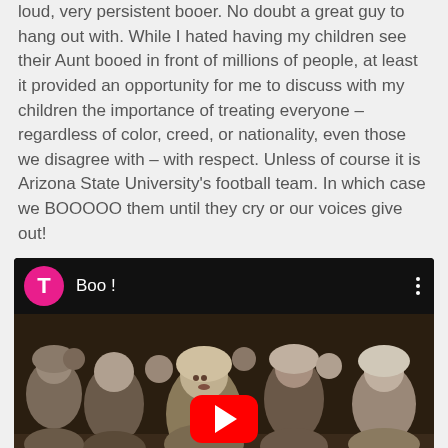loud, very persistent booer. No doubt a great guy to hang out with. While I hated having my children see their Aunt booed in front of millions of people, at least it provided an opportunity for me to discuss with my children the importance of treating everyone – regardless of color, creed, or nationality, even those we disagree with – with respect. Unless of course it is Arizona State University's football team. In which case we BOOOOO them until they cry or our voices give out!
[Figure (screenshot): YouTube video embed with title 'Boo !' and a pink/magenta avatar with letter T. The video thumbnail shows a crowd of people in medieval/ancient costume. A red YouTube play button is centered on the video. A scroll-up arrow button is in the bottom-right corner.]